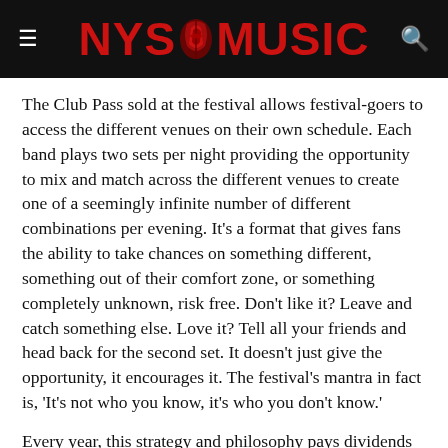NYS MUSIC
The Club Pass sold at the festival allows festival-goers to access the different venues on their own schedule. Each band plays two sets per night providing the opportunity to mix and match across the different venues to create one of a seemingly infinite number of different combinations per evening. It's a format that gives fans the ability to take chances on something different, something out of their comfort zone, or something completely unknown, risk free. Don't like it? Leave and catch something else. Love it? Tell all your friends and head back for the second set. It doesn't just give the opportunity, it encourages it. The festival's mantra in fact is, 'It's not who you know, it's who you don't know.'
Every year, this strategy and philosophy pays dividends with some astounding discoveries, usually from somewhere across the pond. This year was no different, and reflected very clearly in our choices for the top ten sets from the 2017 Xerox International Jazz Festival, maybe more so even than usual. The